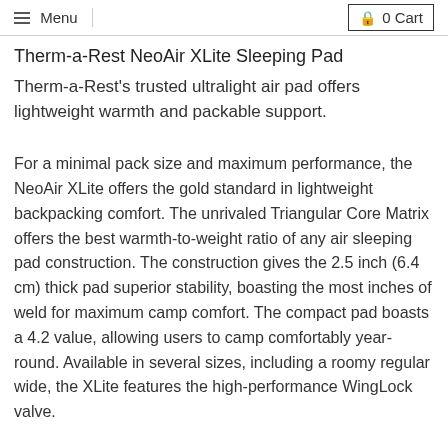Menu  0 Cart
Therm-a-Rest NeoAir XLite Sleeping Pad
Therm-a-Rest's trusted ultralight air pad offers lightweight warmth and packable support.
For a minimal pack size and maximum performance, the NeoAir XLite offers the gold standard in lightweight backpacking comfort. The unrivaled Triangular Core Matrix offers the best warmth-to-weight ratio of any air sleeping pad construction. The construction gives the 2.5 inch (6.4 cm) thick pad superior stability, boasting the most inches of weld for maximum camp comfort. The compact pad boasts a 4.2 value, allowing users to camp comfortably year-round. Available in several sizes, including a roomy regular wide, the XLite features the high-performance WingLock valve.